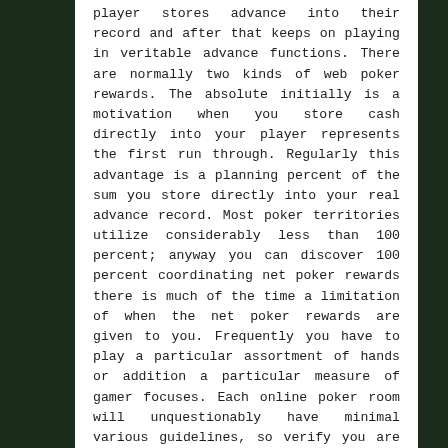player stores advance into their record and after that keeps on playing in veritable advance functions. There are normally two kinds of web poker rewards. The absolute initially is a motivation when you store cash directly into your player represents the first run through. Regularly this advantage is a planning percent of the sum you store directly into your real advance record. Most poker territories utilize considerably less than 100 percent; anyway you can discover 100 percent coordinating net poker rewards there is much of the time a limitation of when the net poker rewards are given to you. Frequently you have to play a particular assortment of hands or addition a particular measure of gamer focuses. Each online poker room will unquestionably have minimal various guidelines, so verify you are advised about the arrangements.